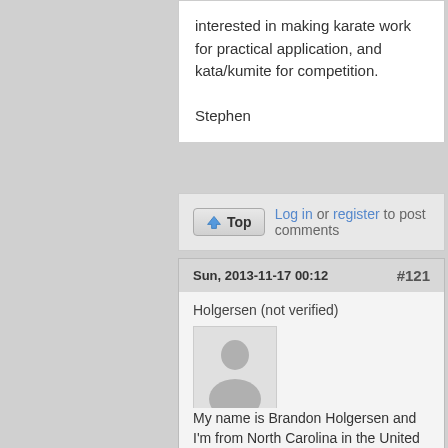interested in making karate work for practical application, and kata/kumite for competition.

Stephen
Log in or register to post comments
Sun, 2013-11-17 00:12  #121
Holgersen (not verified)
[Figure (photo): Default user avatar silhouette in gray]
My name is Brandon Holgersen and I'm from North Carolina in the United States.

I've sat down several times in the last couple days to try and write something about myself. Each time I start writing and each time I delete everything and start all over. I like to choose my words carefully, because I'm always afraid that I might communicate